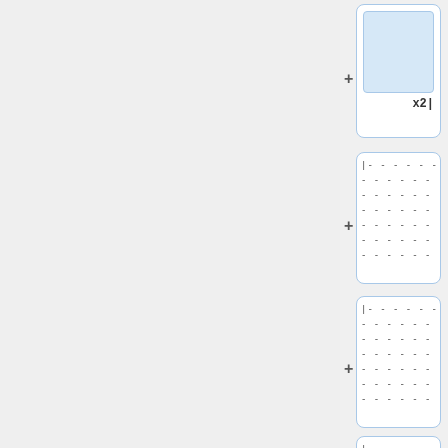[Figure (schematic): UI mockup showing a left gray panel and a right column with stacked card widgets. First card has a blue shaded rectangle and 'x2|' label. Second and third cards show dashed lines (text input placeholders) with cursor markers. Fourth card is partially visible with dashed lines. Plus signs between cards suggest addable components.]